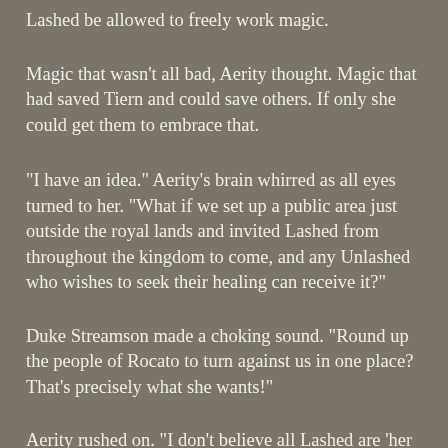Lashed be allowed to freely work magic.
Magic that wasn't all bad, Aerity thought. Magic that had saved Tiern and could save others. If only she could get them to embrace that.
“I have an idea.” Aerity’s brain whirred as all eyes turned to her. “What if we set up a public area just outside the royal lands and invited Lashed from throughout the kingdom to come, and any Unlashed who wishes to seek their healing can receive it?”
Duke Streamson made a choking sound. “Round up the people of Rocato to turn against us in one place? That’s precisely what she wants!”
Aerity rushed on. “I don’t believe all Lashed are ‘her people.’ The entire area would be heavily guarded so that if any